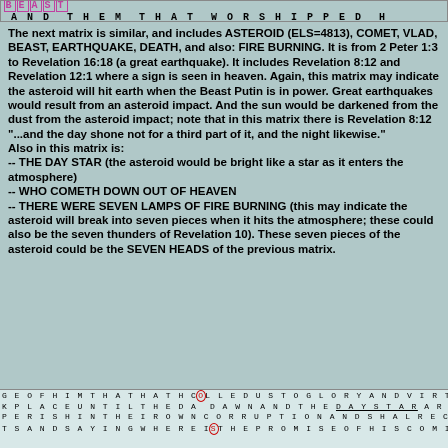BEAST AND THEM THAT WORSHIPPED H
The next matrix is similar, and includes ASTEROID (ELS=4813), COMET, VLAD, BEAST, EARTHQUAKE, DEATH, and also: FIRE BURNING. It is from 2 Peter 1:3 to Revelation 16:18 (a great earthquake). It includes Revelation 8:12 and Revelation 12:1 where a sign is seen in heaven. Again, this matrix may indicate the asteroid will hit earth when the Beast Putin is in power. Great earthquakes would result from an asteroid impact. And the sun would be darkened from the dust from the asteroid impact; note that in this matrix there is Revelation 8:12 "...and the day shone not for a third part of it, and the night likewise."
Also in this matrix is:
-- THE DAY STAR (the asteroid would be bright like a star as it enters the atmosphere)
-- WHO COMETH DOWN OUT OF HEAVEN
-- THERE WERE SEVEN LAMPS OF FIRE BURNING (this may indicate the asteroid will break into seven pieces when it hits the atmosphere; these could also be the seven thunders of Revelation 10). These seven pieces of the asteroid could be the SEVEN HEADS of the previous matrix.
[Figure (other): Bottom word-search grid with letters: GEOFHIMTHATHATHCOLLEDUSTOGLORYANDVIRTUEW / KPLACEUNTILTHEDAWDAWNANDTHEDAYSTARARISEI / PERISHINTHEIROWNCORRUPTIONANDSHALRECEIV / TSANDSAYINGWHEREISTHEPROMISEOFHISCOMINGR]